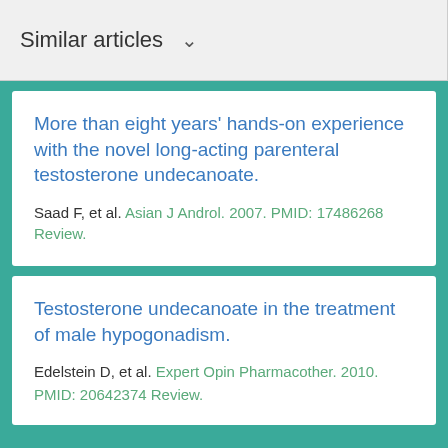Similar articles
More than eight years' hands-on experience with the novel long-acting parenteral testosterone undecanoate.
Saad F, et al. Asian J Androl. 2007. PMID: 17486268 Review.
Testosterone undecanoate in the treatment of male hypogonadism.
Edelstein D, et al. Expert Opin Pharmacother. 2010. PMID: 20642374 Review.
See all similar articles